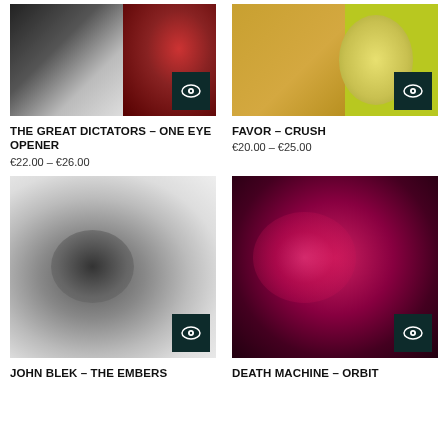[Figure (photo): Album cover for The Great Dictators - One Eye Opener, showing a black and white image on the left and a dark red vinyl record on the right, with a dark teal eye icon button in the bottom right corner]
THE GREAT DICTATORS – ONE EYE OPENER
€22.00 – €26.00
[Figure (photo): Album cover for Favor - Crush, showing a yellow/gold left panel and a bright yellow-green right panel with a pale circular record, with a dark teal eye icon button in the bottom right corner]
FAVOR – CRUSH
€20.00 – €25.00
[Figure (photo): Album cover for John Blek - The Embers, a blurry grayscale image with a dark circular shape, with a dark teal eye icon button in the bottom right corner]
JOHN BLEK – THE EMBERS
[Figure (photo): Album cover for Death Machine - Orbit, a dark magenta/crimson blurry abstract image, with a dark teal eye icon button in the bottom right corner]
DEATH MACHINE – ORBIT